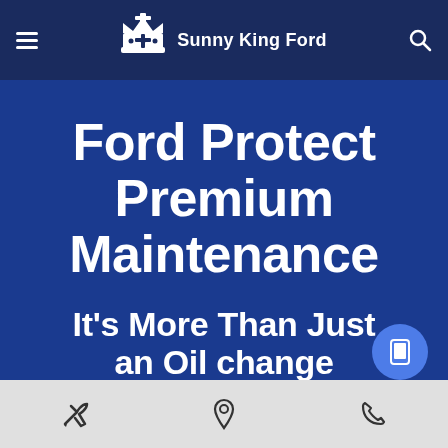Sunny King Ford
Ford Protect Premium Maintenance
It's More Than Just an Oil change